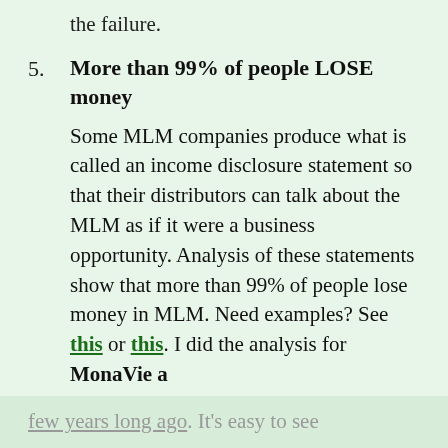the failure.
5. More than 99% of people LOSE money
Some MLM companies produce what is called an income disclosure statement so that their distributors can talk about the MLM as if it were a business opportunity. Analysis of these statements show that more than 99% of people lose money in MLM. Need examples? See this or this. I did the analysis for MonaVie a few years long ago. It's easy to see